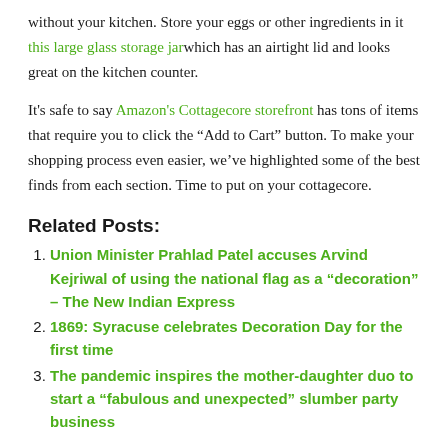without your kitchen. Store your eggs or other ingredients in it this large glass storage jar which has an airtight lid and looks great on the kitchen counter.
It's safe to say Amazon's Cottagecore storefront has tons of items that require you to click the “Add to Cart” button. To make your shopping process even easier, we’ve highlighted some of the best finds from each section. Time to put on your cottagecore.
Related Posts:
Union Minister Prahlad Patel accuses Arvind Kejriwal of using the national flag as a “decoration” – The New Indian Express
1869: Syracuse celebrates Decoration Day for the first time
The pandemic inspires the mother-daughter duo to start a “fabulous and unexpected” slumber party business